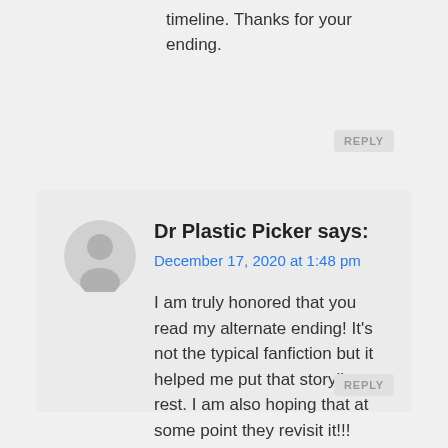timeline. Thanks for your ending.
REPLY
Dr Plastic Picker says:
December 17, 2020 at 1:48 pm
I am truly honored that you read my alternate ending! It's not the typical fanfiction but it helped me put that storyline to rest. I am also hoping that at some point they revisit it!!!
REPLY